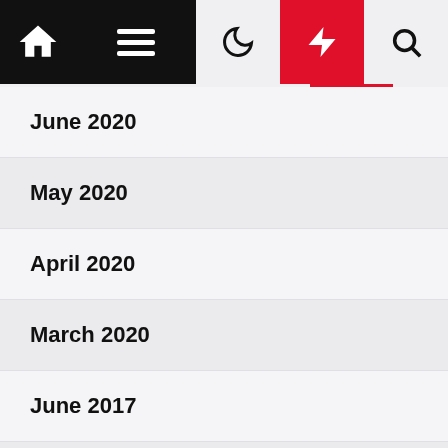Navigation bar with home, menu, moon, bolt, and search icons
June 2020
May 2020
April 2020
March 2020
June 2017
July 2016
February 2015
January 2014
June 2013